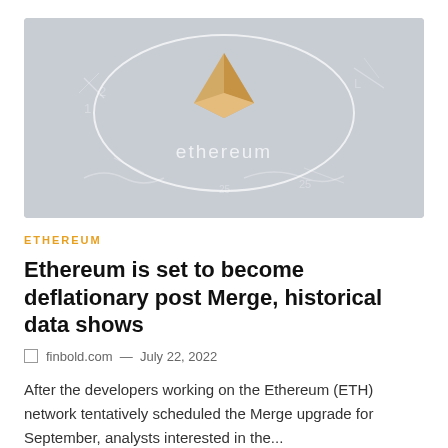[Figure (photo): Ethereum logo coin with 'ethereum' text inside an oval/ellipse outline, on a gray background with faint grid lines]
ETHEREUM
Ethereum is set to become deflationary post Merge, historical data shows
finbold.com — July 22, 2022
After the developers working on the Ethereum (ETH) network tentatively scheduled the Merge upgrade for September, analysts interested in the...